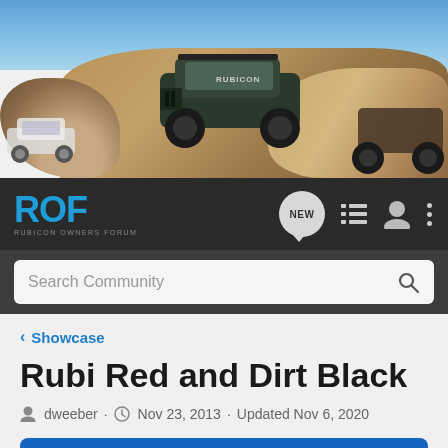[Figure (photo): Hero banner showing Jeep Rubicon vehicles on red rock terrain with blue sky background. Multiple jeeps visible climbing rocky landscape.]
[Figure (logo): ROF Rubicon Owners Forum logo in blue on dark background, with navigation icons including NEW speech bubble, list view, user icon, and vertical dots menu.]
Search Community
< Showcase
Rubi Red and Dirt Black
dweeber · Nov 23, 2013 · Updated Nov 6, 2020
+ Follow